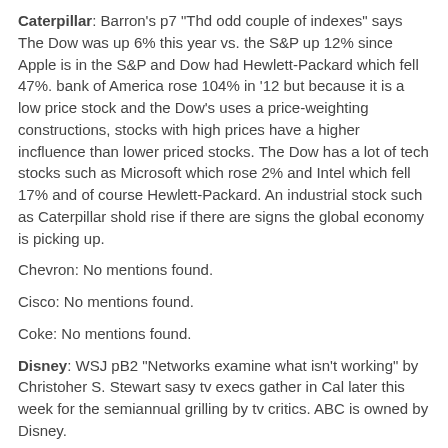Caterpillar: Barron's p7 "Thd odd couple of indexes" says The Dow was up 6% this year vs. the S&P up 12% since Apple is in the S&P and Dow had Hewlett-Packard which fell 47%. bank of America rose 104% in '12 but because it is a low price stock and the Dow's uses a price-weighting constructions, stocks with high prices have a higher incfluence than lower priced stocks. The Dow has a lot of tech stocks such as Microsoft which rose 2% and Intel which fell 17% and of course Hewlett-Packard. An industrial stock such as Caterpillar shold rise if there are signs the global economy is picking up.
Chevron:  No mentions found.
Cisco:  No mentions found.
Coke:  No mentions found.
Disney:  WSJ pB2 "Networks examine what isn't working" by Christoher S. Stewart sasy tv execs gather in Cal later this week for the semiannual grilling by tv critics.  ABC is owned by Disney.